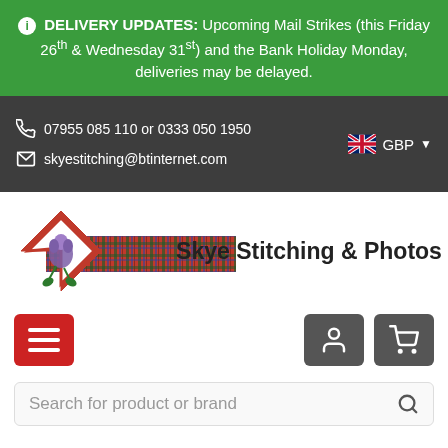ℹ DELIVERY UPDATES: Upcoming Mail Strikes (this Friday 26th & Wednesday 31st) and the Bank Holiday Monday, deliveries may be delayed.
07955 085 110 or 0333 050 1950
skyestitching@btinternet.com
GBP
[Figure (logo): Skye Stitching & Photos logo with tartan pattern and thistle diamond emblem]
[Figure (screenshot): Navigation bar with hamburger menu (red), user icon button (grey), and cart icon button (grey)]
Search for product or brand